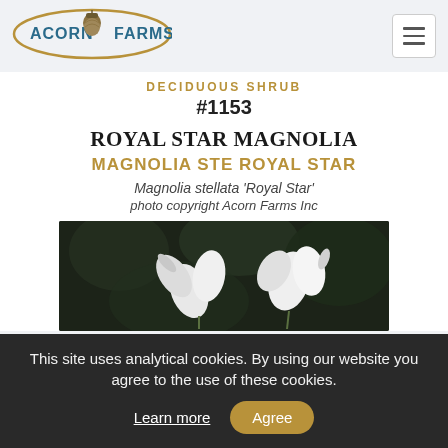[Figure (logo): Acorn Farms logo with acorn graphic and oval border]
DECIDUOUS SHRUB
#1153
ROYAL STAR MAGNOLIA
MAGNOLIA STE ROYAL STAR
Magnolia stellata 'Royal Star'
photo copyright Acorn Farms Inc
[Figure (photo): Close-up photo of white magnolia flower blooms against dark background]
This site uses analytical cookies. By using our website you agree to the use of these cookies.
Learn more
Agree